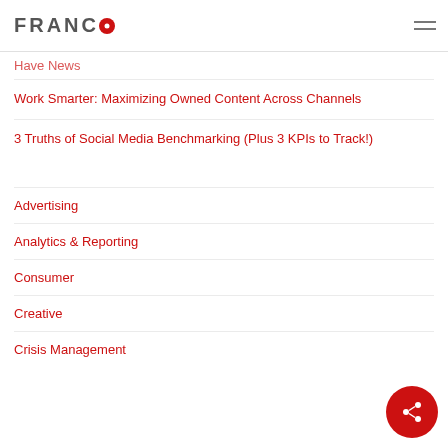FRANCO
Have News
Work Smarter: Maximizing Owned Content Across Channels
3 Truths of Social Media Benchmarking (Plus 3 KPIs to Track!)
Advertising
Analytics & Reporting
Consumer
Creative
Crisis Management